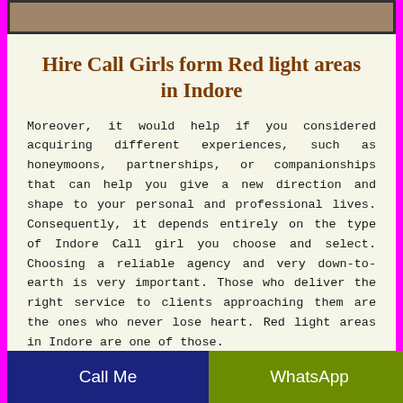[Figure (photo): Partial photo visible at the top of the page, appearing to show a person]
Hire Call Girls form Red light areas in Indore
Moreover, it would help if you considered acquiring different experiences, such as honeymoons, partnerships, or companionships that can help you give a new direction and shape to your personal and professional lives. Consequently, it depends entirely on the type of Indore Call girl you choose and select. Choosing a reliable agency and very down-to-earth is very important. Those who deliver the right service to clients approaching them are the ones who never lose heart. Red light areas in Indore are one of those.
They have a collection of Call Girls and Prostitutes listed...
Call Me | WhatsApp